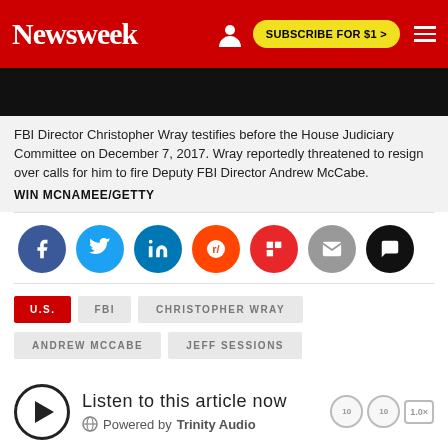Newsweek | SUBSCRIBE FOR $1 >
[Figure (photo): Dark hero image showing a person in a suit, partial view]
FBI Director Christopher Wray testifies before the House Judiciary Committee on December 7, 2017. Wray reportedly threatened to resign over calls for him to fire Deputy FBI Director Andrew McCabe.
WIN MCNAMEE/GETTY
[Figure (infographic): Social sharing icons row: Facebook, Twitter, LinkedIn, Reddit, Flipboard, Email, Comments]
U.S.
FBI
CHRISTOPHER WRAY
ANDREW MCCABE
JEFF SESSIONS
Listen to this article now
Powered by Trinity Audio